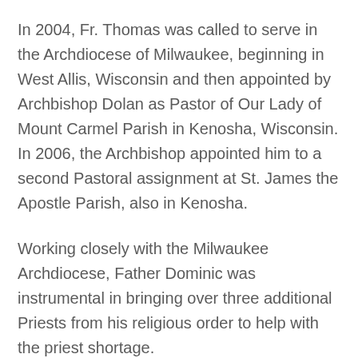In 2004, Fr. Thomas was called to serve in the Archdiocese of Milwaukee, beginning in West Allis, Wisconsin and then appointed by Archbishop Dolan as Pastor of Our Lady of Mount Carmel Parish in Kenosha, Wisconsin. In 2006, the Archbishop appointed him to a second Pastoral assignment at St. James the Apostle Parish, also in Kenosha.
Working closely with the Milwaukee Archdiocese, Father Dominic was instrumental in bringing over three additional Priests from his religious order to help with the priest shortage.